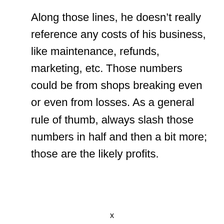Along those lines, he doesn't really reference any costs of his business, like maintenance, refunds, marketing, etc. Those numbers could be from shops breaking even or even from losses. As a general rule of thumb, always slash those numbers in half and then a bit more; those are the likely profits.
x